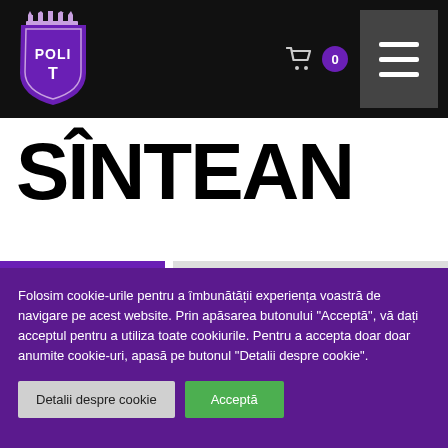[Figure (logo): Politehnica Timișoara football club shield logo — purple shield with crown on top, white text POLI T inside]
SÎNTEAN
Folosim cookie-urile pentru a îmbunătății experiența voastră de navigare pe acest website. Prin apăsarea butonului "Acceptă", vă dați acceptul pentru a utiliza toate cookiurile. Pentru a accepta doar doar anumite cookie-uri, apasă pe butonul "Detalii despre cookie".
Detalii despre cookie
Acceptă